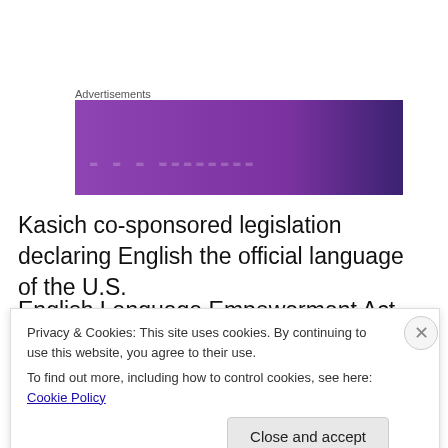Advertisements
[Figure (other): Purple advertisement banner with partially visible text]
Kasich co-sponsored legislation declaring English the official language of the U.S.
English Language Empowerment Act (H.R.123) 99-HR0123 on Jan 6, 1999
Foreign Policy. Like Americans of African, Cuban
Privacy & Cookies: This site uses cookies. By continuing to use this website, you agree to their use.
To find out more, including how to control cookies, see here: Cookie Policy
Close and accept